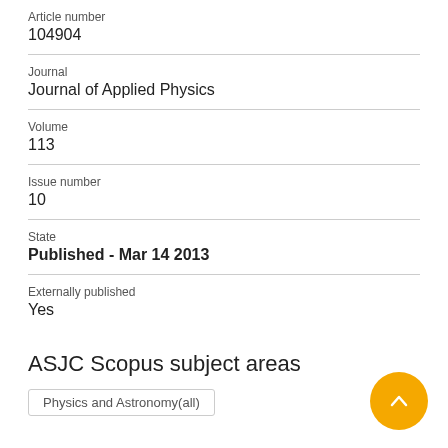Article number
104904
Journal
Journal of Applied Physics
Volume
113
Issue number
10
State
Published - Mar 14 2013
Externally published
Yes
ASJC Scopus subject areas
Physics and Astronomy(all)